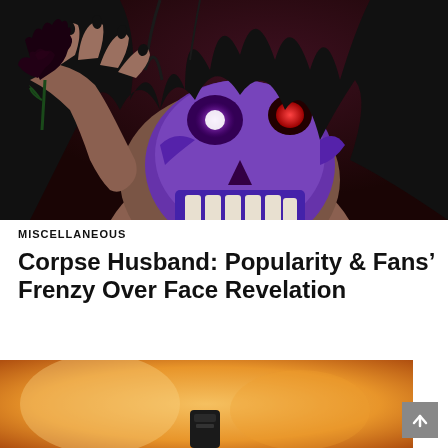[Figure (illustration): Digital illustration of a dark-haired figure holding a black rose, wearing a purple skull-like mask with glowing purple eye and red eye visible, with black fingernails. Dark moody background.]
MISCELLANEOUS
Corpse Husband: Popularity & Fans' Frenzy Over Face Revelation
[Figure (photo): Partial photo visible at bottom of page showing warm orange/amber tones with a dark object in the center, possibly a microphone or device.]